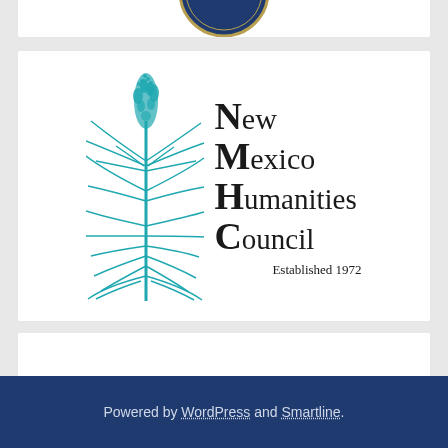[Figure (logo): Partial view of a circular seal/badge at the top of the page, only the bottom portion visible showing 'HE HUMA' text arc]
[Figure (logo): New Mexico Humanities Council logo featuring a teal/turquoise yucca plant illustration on the left, and serif text reading 'New Mexico Humanities Council' with large bold initial letters N, M, H, C, and 'Established 1972' beneath]
[Figure (other): Empty white card/panel below the NMHC logo]
Powered by WordPress and Smartline.